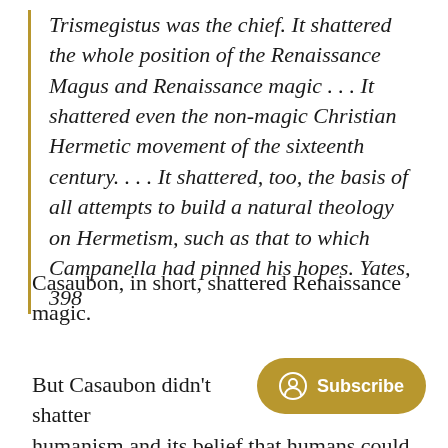Trismegistus was the chief. It shattered the whole position of the Renaissance Magus and Renaissance magic . . . It shattered even the non-magic Christian Hermetic movement of the sixteenth century. . . . It shattered, too, the basis of all attempts to build a natural theology on Hermetism, such as that to which Campanella had pinned his hopes. Yates, 398
Casaubon, in short, shattered Renaissance magic.
But Casaubon didn't shatter humanism and its belief that humans could